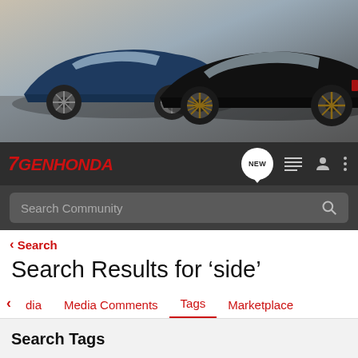[Figure (photo): Hero banner with two dark cars (blue Honda Civic and black Honda on a light background)]
7GENHONDA navigation bar with NEW chat bubble, list icon, user icon, and menu icon
Search Community (search bar)
< Search
Search Results for ‘side’
< dia  Media Comments  Tags  Marketplace (tab bar, Tags active)
Search Tags
X side  [Search button]